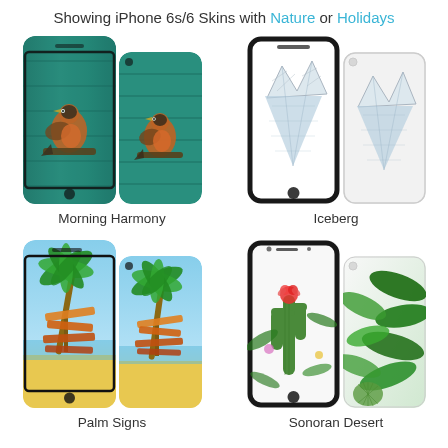Showing iPhone 6s/6 Skins with Nature or Holidays
[Figure (photo): Four iPhone 6s/6 skin designs shown in pairs (front and back). Top left: Morning Harmony - bird on teal wood background. Top right: Iceberg - iceberg illustration on white. Bottom left: Palm Signs - tropical beach with palm trees and signs. Bottom right: Sonoran Desert - tropical cactus and flowers.]
Morning Harmony
Iceberg
Palm Signs
Sonoran Desert